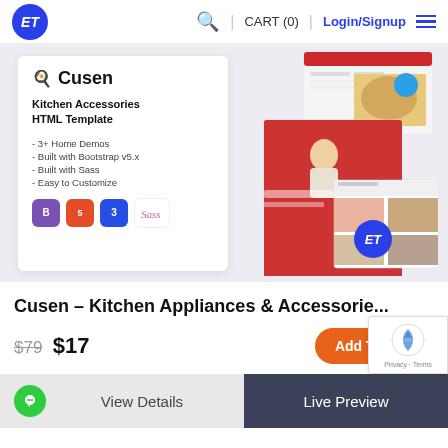ET | Search | CART (0) | Login/Signup | Menu
[Figure (screenshot): Product preview image showing Cusen Kitchen Accessories HTML Template with screenshots of the template on multiple device mockups. Includes the Cusen brand card with features list (3+ Home Demos, Built with Bootstrap v5.x, Built with Sass, Easy to Customize) and technology badges (Bootstrap, HTML5, CSS3, Sass).]
Cusen – Kitchen Appliances & Accessorie...
$79  $17
Add To Cart
View Details
Live Preview